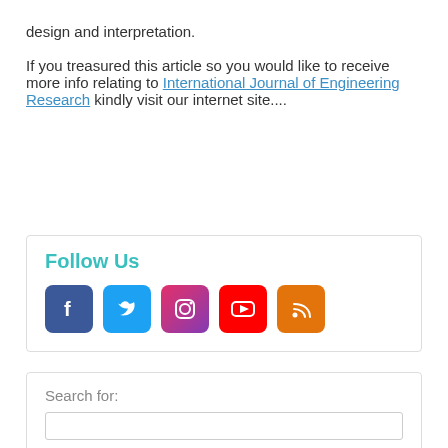design and interpretation.
If you treasured this article so you would like to receive more info relating to International Journal of Engineering Research kindly visit our internet site....
Follow Us
[Figure (infographic): Social media icons for Facebook, Twitter, Instagram, YouTube, and RSS feed]
Search for: